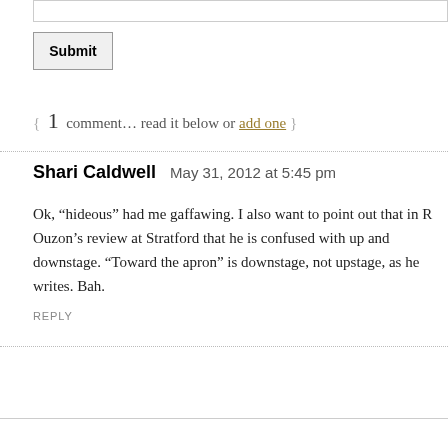[Figure (screenshot): Text input bar at top of page]
Submit
{ 1 comment… read it below or add one }
Shari Caldwell   May 31, 2012 at 5:45 pm
Ok, “hideous” had me gaffawing. I also want to point out that in R Ouzon’s review at Stratford that he is confused with up and downstage. “Toward the apron” is downstage, not upstage, as he writes. Bah.
REPLY